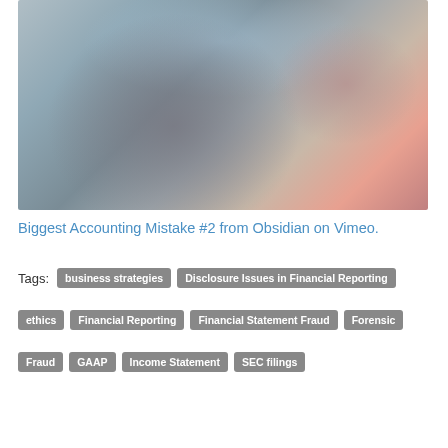[Figure (photo): Blurred photo of two people close together, a man in a gray shirt in the foreground and a woman partially visible on the right with a pink top, background is blurred]
Biggest Accounting Mistake #2 from Obsidian on Vimeo.
Tags: business strategies  Disclosure Issues in Financial Reporting  ethics  Financial Reporting  Financial Statement Fraud  Forensic  Fraud  GAAP  Income Statement  SEC filings